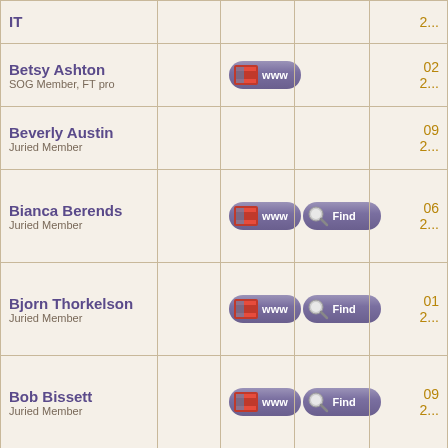| Name/Type | Thumb | WWW | Find | Date |
| --- | --- | --- | --- | --- |
| IT |  |  |  | 2... |
| Betsy Ashton
SOG Member, FT pro |  | www |  | 02
2... |
| Beverly Austin
Juried Member |  |  |  | 09
2... |
| Bianca Berends
Juried Member |  | www | Find | 06
2... |
| Bjorn Thorkelson
Juried Member |  | www | Find | 01
2... |
| Bob Bissett
Juried Member |  | www | Find | 09
2... |
| Bob Botha
Juried Member |  | www | Find | 04
2... |
| Bobbi Baldwin
Associate Member
FT Pro/Teacher 20 yrs. |  | www | Find | 07
2... |